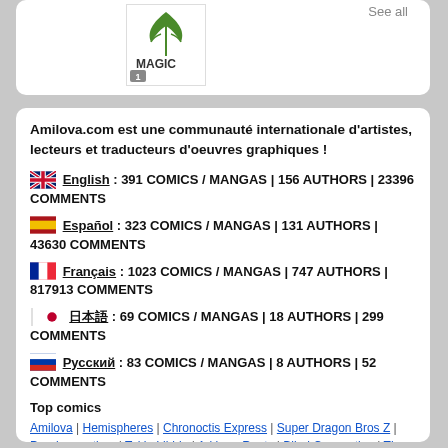[Figure (logo): Magic logo with cannabis leaf and text 'MAGIC', numbered 1]
See all
Amilova.com est une communauté internationale d'artistes, lecteurs et traducteurs d'oeuvres graphiques !
🇬🇧 English : 391 COMICS / MANGAS | 156 AUTHORS | 23396 COMMENTS
🇪🇸 Español : 323 COMICS / MANGAS | 131 AUTHORS | 43630 COMMENTS
🇫🇷 Français : 1023 COMICS / MANGAS | 747 AUTHORS | 817913 COMMENTS
🇯🇵 日本語 : 69 COMICS / MANGAS | 18 AUTHORS | 299 COMMENTS
🇷🇺 Русский : 83 COMICS / MANGAS | 8 AUTHORS | 52 COMMENTS
Top comics
Amilova | Hemispheres | Chronoctis Express | Super Dragon Bros Z | Psychomantium | Tokio Libido | Arkham Roots | Blind Connection | The Heart Of Earth |